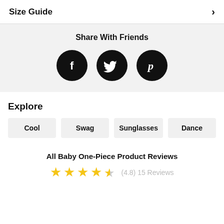Size Guide >
Share With Friends
[Figure (illustration): Three social media icons: Facebook (f), Twitter (bird), Pinterest (p) — white icons on black circles]
Explore
Cool
Swag
Sunglasses
Dance
All Baby One-Piece Product Reviews
(4.8) 15 Reviews — 4.5 stars rating